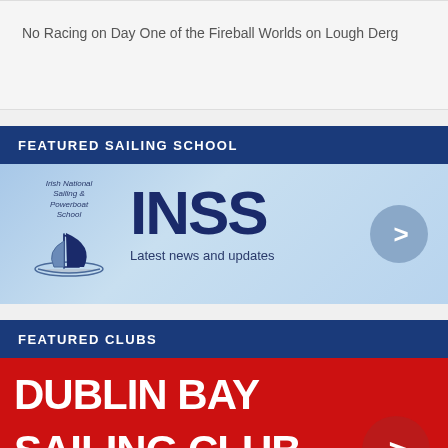No Racing on Day One of the Fireball Worlds on Lough Derg
FEATURED SAILING SCHOOL
[Figure (logo): INSS (Irish National Sailing & Powerboat School) banner with logo, INSS acronym, 'Latest news and updates', and a forward arrow button]
FEATURED CLUBS
[Figure (logo): Dublin Bay Sailing Club banner (red background) with text 'DUBLIN BAY SAILING CLUB incorporating Royal Alfred YC' and forward arrow]
[Figure (screenshot): Partial banner showing beginning of HOWTH club entry]